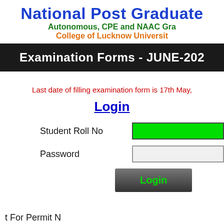National Post Graduate
Autonomous, CPE and NAAC Gra
College of Lucknow Universit
Examination Forms - JUNE-202
Last date of filling examination form is 17th May,
Login
Student Roll No
Password
Login (button)
t For Permit N